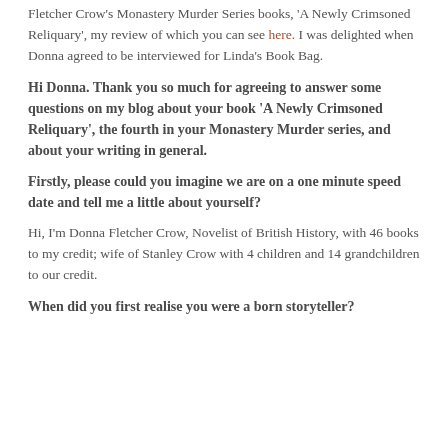Fletcher Crow's Monastery Murder Series books, 'A Newly Crimsoned Reliquary', my review of which you can see here. I was delighted when Donna agreed to be interviewed for Linda's Book Bag.
Hi Donna. Thank you so much for agreeing to answer some questions on my blog about your book 'A Newly Crimsoned Reliquary', the fourth in your Monastery Murder series, and about your writing in general.
Firstly, please could you imagine we are on a one minute speed date and tell me a little about yourself?
Hi, I'm Donna Fletcher Crow, Novelist of British History, with 46 books to my credit; wife of Stanley Crow with 4 children and 14 grandchildren to our credit.
When did you first realise you were a born storyteller?